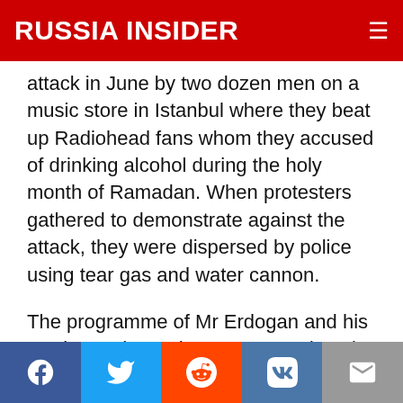RUSSIA INSIDER
attack in June by two dozen men on a music store in Istanbul where they beat up Radiohead fans whom they accused of drinking alcohol during the holy month of Ramadan. When protesters gathered to demonstrate against the attack, they were dispersed by police using tear gas and water cannon.
The programme of Mr Erdogan and his Justice and Development Party (AKP) since they won their first general election in 2002 has been to reverse the secularisation introduced by Kemal Ataturk, the founder of the republic in 1923.  As the AKP has tightened its grip on power, it has
Facebook Twitter Reddit VK Email